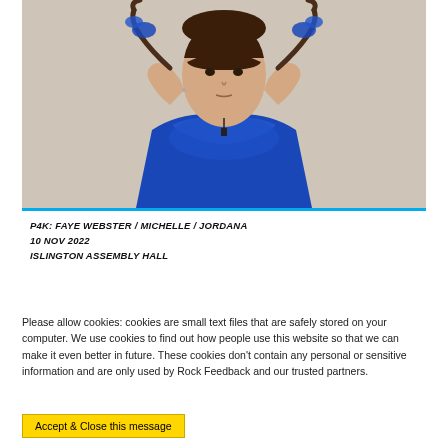[Figure (photo): A young woman with brown hair in two braids adorned with blue organza flower clips, wearing a blue ruffled sheer dress, holding her braids out to the sides against a light beige background.]
P4K: FAYE WEBSTER / MICHELLE / JORDANA
10 NOV 2022
ISLINGTON ASSEMBLY HALL
Please allow cookies: cookies are small text files that are safely stored on your computer. We use cookies to find out how people use this website so that we can make it even better in future. These cookies don't contain any personal or sensitive information and are only used by Rock Feedback and our trusted partners.
Accept & Close this message